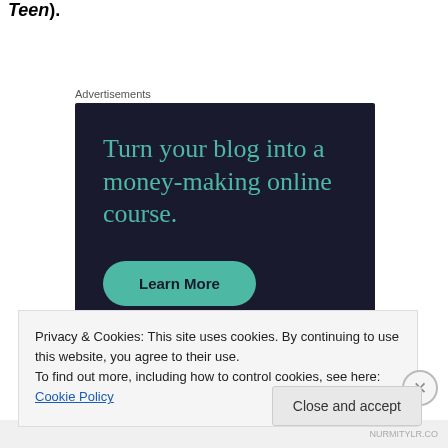Teen).
Advertisements
[Figure (other): Advertisement banner with dark navy background showing the text 'Turn your blog into a money-making online course.' in teal/green color with a 'Learn More' button in teal.]
Privacy & Cookies: This site uses cookies. By continuing to use this website, you agree to their use.
To find out more, including how to control cookies, see here: Cookie Policy
Close and accept